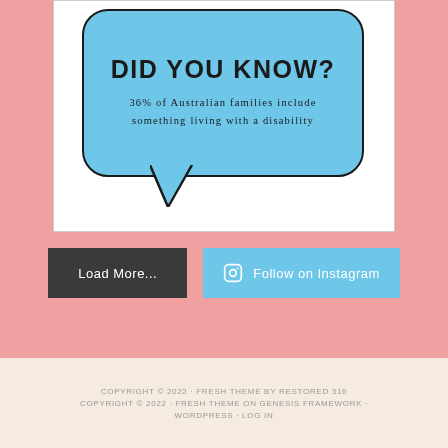[Figure (infographic): Speech bubble infographic on white card. Blue rounded speech bubble with black border containing bold text 'DID YOU KNOW?' and italic text '36% of Australian families include something living with a disability']
Load More...
Follow on Instagram
COPYRIGHT © 2022 · FRESH THEME BY RESTORED 316 COPYRIGHT © 2022 · FRESH THEME ON GENESIS FRAMEWORK · WORDPRESS · LOG IN